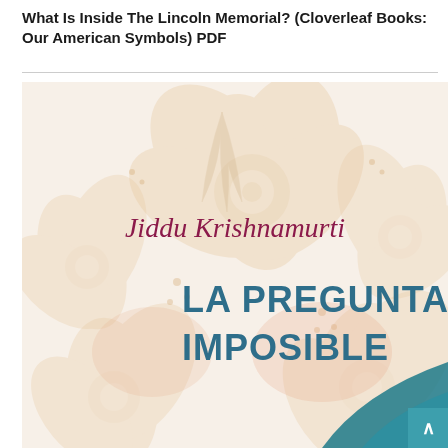What Is Inside The Lincoln Memorial? (Cloverleaf Books: Our American Symbols) PDF
[Figure (illustration): Book cover for 'La Pregunta Imposible' by Jiddu Krishnamurti. Cream/white background with intricate floral mandala pattern in light peach/beige tones. Author name 'Jiddu Krishnamurti' appears in dark red/maroon serif text in the upper portion. Title 'LA PREGUNTA IMPOSIBLE' appears in large teal/steel-blue sans-serif bold text in the center. A teal geometric decorative element is visible in the bottom right corner.]